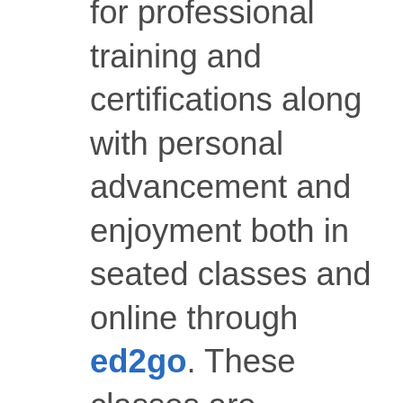for professional training and certifications along with personal advancement and enjoyment both in seated classes and online through ed2go. These classes are designed to accommodate busy lifestyles and provide opportunities to quickly get skills or explore interests.

Check out our list of upcoming